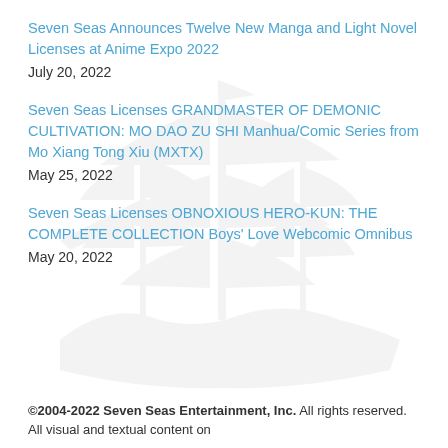Seven Seas Announces Twelve New Manga and Light Novel Licenses at Anime Expo 2022
July 20, 2022
Seven Seas Licenses GRANDMASTER OF DEMONIC CULTIVATION: MO DAO ZU SHI Manhua/Comic Series from Mo Xiang Tong Xiu (MXTX)
May 25, 2022
Seven Seas Licenses OBNOXIOUS HERO-KUN: THE COMPLETE COLLECTION Boys' Love Webcomic Omnibus
May 20, 2022
©2004-2022 Seven Seas Entertainment, Inc. All rights reserved. All visual and textual content on